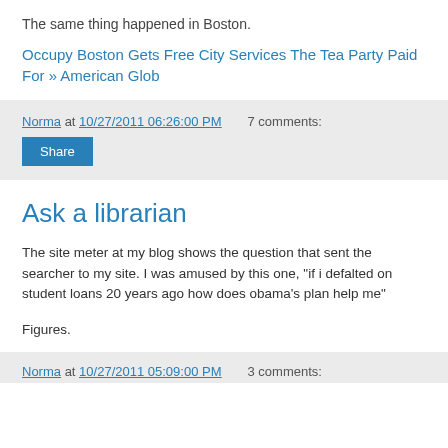The same thing happened in Boston.
Occupy Boston Gets Free City Services The Tea Party Paid For » American Glob
Norma at 10/27/2011 06:26:00 PM   7 comments:
Share
Ask a librarian
The site meter at my blog shows the question that sent the searcher to my site. I was amused by this one, "if i defalted on student loans 20 years ago how does obama's plan help me"
Figures.
Norma at 10/27/2011 05:09:00 PM   3 comments: